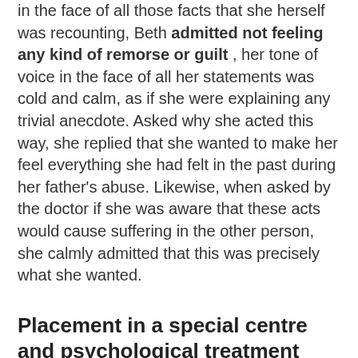in the face of all those facts that she herself was recounting, Beth admitted not feeling any kind of remorse or guilt , her tone of voice in the face of all her statements was cold and calm, as if she were explaining any trivial anecdote. Asked why she acted this way, she replied that she wanted to make her feel everything she had felt in the past during her father's abuse. Likewise, when asked by the doctor if she was aware that these acts would cause suffering in the other person, she calmly admitted that this was precisely what she wanted.
Placement in a special centre and psychological treatment
After a long interview, the psychologist obtained enough information to lead him to